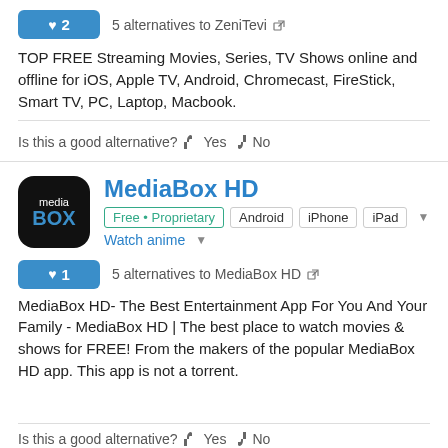♥ 2   5 alternatives to ZeniTevi
TOP FREE Streaming Movies, Series, TV Shows online and offline for iOS, Apple TV, Android, Chromecast, FireStick, Smart TV, PC, Laptop, Macbook.
Is this a good alternative? 👍 Yes 👎 No
MediaBox HD
Free • Proprietary  Android  iPhone  iPad  Watch anime
♥ 1   5 alternatives to MediaBox HD
MediaBox HD- The Best Entertainment App For You And Your Family - MediaBox HD | The best place to watch movies & shows for FREE! From the makers of the popular MediaBox HD app. This app is not a torrent.
Is this a good alternative? 👍 Yes 👎 No